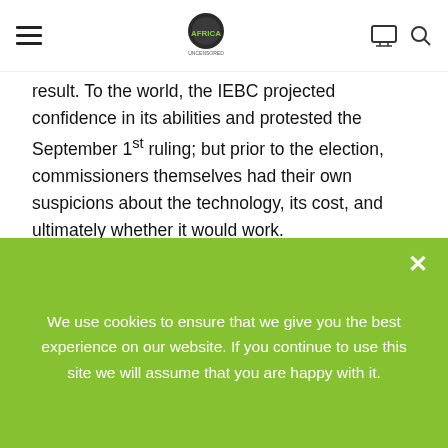[hamburger menu] [Africa logo] [monitor icon] [search icon]
result. To the world, the IEBC projected confidence in its abilities and protested the September 1st ruling; but prior to the election, commissioners themselves had their own suspicions about the technology, its cost, and ultimately whether it would work.
[Figure (photo): Scanned document: 2017 IEBC PLENARY ORIGINAL MINUTES SUBMITTED TO THE CHAIRMANS OFFICE -3rd AUGUST, 2017. A table with columns: Meeting No., Date Meeting Held, Type of Meeting, Officer Taking Minutes, Meeting in which minutes were Confirmed. Rows list meetings numbered 1-10 approximately, with dates in January-March 2017, types listed as Special or Normal, officer listed as Queenah M'inoti or similar, and status Confirmed.]
We use cookies to ensure that we give you the best experience on our website. If you continue to use this site we will assume that you are happy with it.